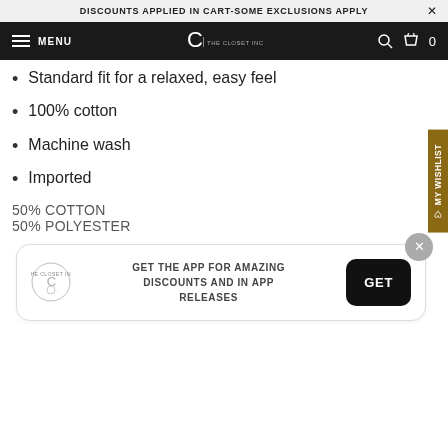DISCOUNTS APPLIED IN CART-SOME EXCLUSIONS APPLY
MENU | THE CLOSET INC | Search | Cart 0
Standard fit for a relaxed, easy feel
100% cotton
Machine wash
Imported
50% COTTON
50% POLYESTER
GET THE APP FOR AMAZING DISCOUNTS AND IN APP RELEASES